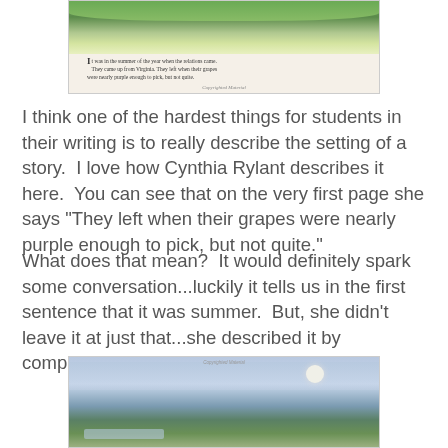[Figure (illustration): A book page illustration showing a landscape with trees and greenery at the top, with text below reading: 'It was in the summer of the year when the relations came. They came up from Virginia. They left when their grapes were nearly purple enough to pick, but not quite.' with 'Copyrighted Material' credit at bottom.]
I think one of the hardest things for students in their writing is to really describe the setting of a story.  I love how Cynthia Rylant describes it here.  You can see that on the very first page she says "They left when their grapes were nearly purple enough to pick, but not quite."
What does that mean?  It would definitely spark some conversation...luckily it tells us in the first sentence that it was summer.  But, she didn't leave it at just that...she described it by comparing it to the grapes!
[Figure (illustration): A book page illustration showing a nighttime landscape with a full moon in a cloudy sky, green fields/marsh in the foreground, and water visible. 'Copyrighted Material' text at top.]